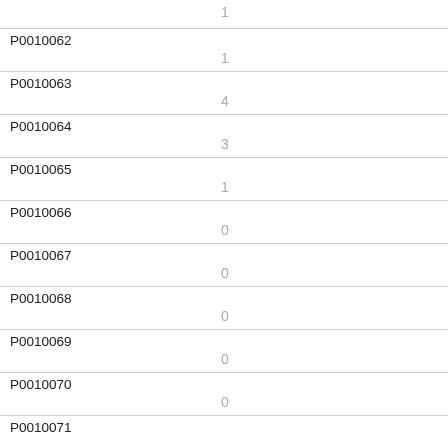| ID | Value |
| --- | --- |
|  | 1 |
| P0010062 | 1 |
| P0010063 | 4 |
| P0010064 | 3 |
| P0010065 | 1 |
| P0010066 | 0 |
| P0010067 | 0 |
| P0010068 | 0 |
| P0010069 | 0 |
| P0010070 | 0 |
| P0010071 |  |